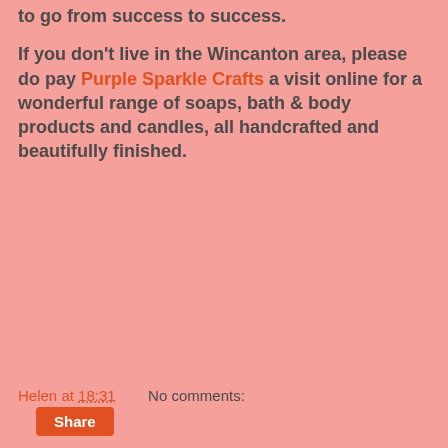to go from success to success.
If you don't live in the Wincanton area, please do pay Purple Sparkle Crafts a visit online for a wonderful range of soaps, bath & body products and candles, all handcrafted and beautifully finished.
Helen at 18:31    No comments:
Share